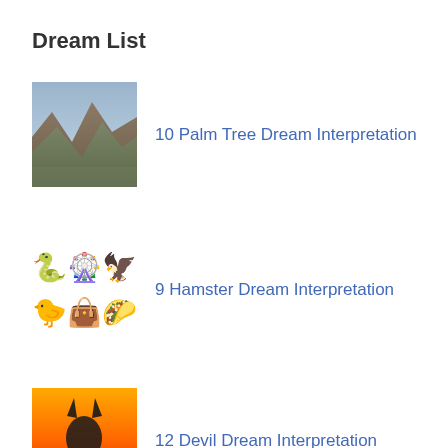Dream List
10 Palm Tree Dream Interpretation
9 Hamster Dream Interpretation
12 Devil Dream Interpretation
8 Police Officer Dream Interpretation